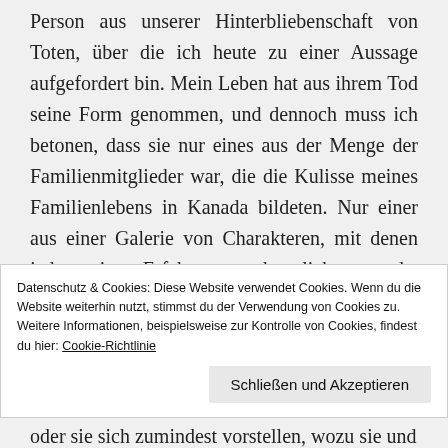Person aus unserer Hinterbliebenschaft von Toten, über die ich heute zu einer Aussage aufgefordert bin. Mein Leben hat aus ihrem Tod seine Form genommen, und dennoch muss ich betonen, dass sie nur eines aus der Menge der Familienmitglieder war, die die Kulisse meines Familienlebens in Kanada bildeten. Nur einer aus einer Galerie von Charakteren, mit denen jede meiner Erfahrungen abgeglichen wurde, die uns mit Interesse, Zärtlichkeit und manchmal Missfallen zugesehen haben. Für uns waren sie alle am Leben, nicht nur in unserer Vorstellung
Datenschutz & Cookies: Diese Website verwendet Cookies. Wenn du die Website weiterhin nutzt, stimmst du der Verwendung von Cookies zu. Weitere Informationen, beispielsweise zur Kontrolle von Cookies, findest du hier: Cookie-Richtlinie
Schließen und Akzeptieren
oder sie sich zumindest vorstellen, wozu sie und